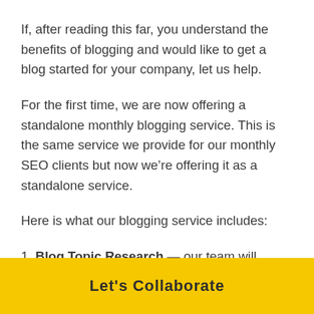If, after reading this far, you understand the benefits of blogging and would like to get a blog started for your company, let us help.
For the first time, we are now offering a standalone monthly blogging service. This is the same service we provide for our monthly SEO clients but now we’re offering it as a standalone service.
Here is what our blogging service includes:
1. Blog Topic Research — our team will research
Let’s Collaborate